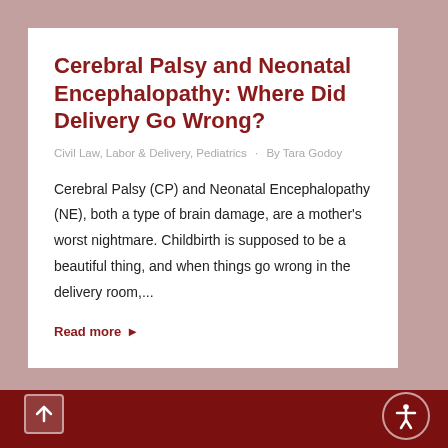Cerebral Palsy and Neonatal Encephalopathy: Where Did Delivery Go Wrong?
Civil Law, Labor & Delivery, Pediatrics · By Tara Godoy
Cerebral Palsy (CP) and Neonatal Encephalopathy (NE), both a type of brain damage, are a mother's worst nightmare. Childbirth is supposed to be a beautiful thing, and when things go wrong in the delivery room,...
Read more ▶